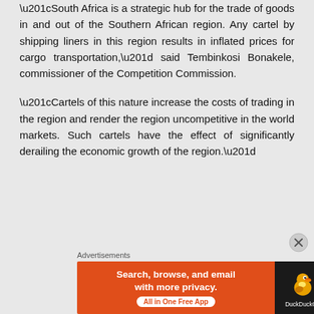“South Africa is a strategic hub for the trade of goods in and out of the Southern African region. Any cartel by shipping liners in this region results in inflated prices for cargo transportation,” said Tembinkosi Bonakele, commissioner of the Competition Commission.
“Cartels of this nature increase the costs of trading in the region and render the region uncompetitive in the world markets. Such cartels have the effect of significantly derailing the economic growth of the region.”
[Figure (other): DuckDuckGo advertisement banner with orange left panel reading 'Search, browse, and email with more privacy. All in One Free App' and dark right panel with DuckDuckGo duck logo.]